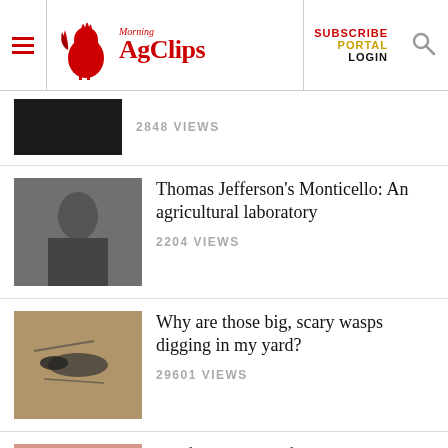Morning AgClips — SUBSCRIBE PORTAL LOGIN
2848 VIEWS
Thomas Jefferson's Monticello: An agricultural laboratory
2204 VIEWS
Why are those big, scary wasps digging in my yard?
29601 VIEWS
California pig welfare rule delays frustrate small farmers
1661 VIEWS
See it? Squish it! Fighting the invasive spotted lanternfly